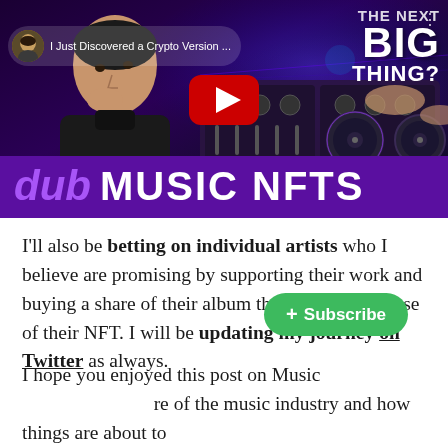[Figure (screenshot): YouTube video thumbnail showing a man thinking on the left, DJ equipment on the right, YouTube play button in center, text 'THE NEXT BIG THING?' top right, purple banner at bottom reading 'dub MUSIC NFTS', channel name 'I Just Discovered a Crypto Version...']
I'll also be betting on individual artists who I believe are promising by supporting their work and buying a share of their album through the purchase of their NFT. I will be updating my journey on Twitter as always.
I hope you enjoyed this post on Music [NFTs and the future] of the music industry and how things are about to